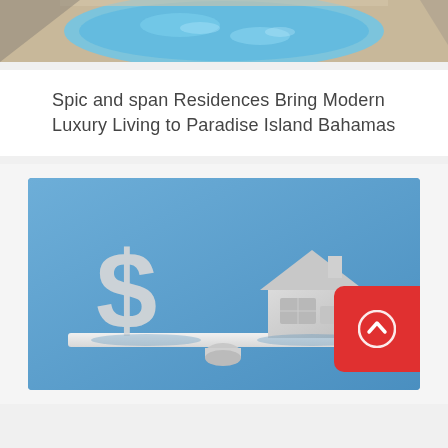[Figure (photo): Aerial view of a luxury swimming pool with blue water and surrounding stone/tile deck area, partially visible at top of page]
Spic and span Residences Bring Modern Luxury Living to Paradise Island Bahamas
[Figure (photo): 3D render of a white dollar sign and a white house model on a balance/seesaw platform against a blue background, with a red scroll-up button overlay in the bottom right corner]